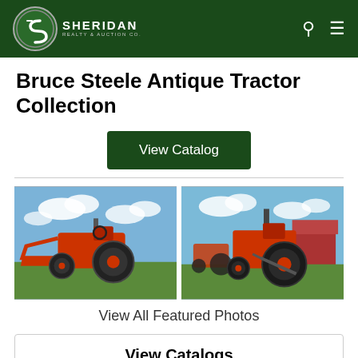Sheridan Realty & Auction Co.
Bruce Steele Antique Tractor Collection
View Catalog
[Figure (photo): Two antique orange tractors photographed outdoors on grass with blue sky and clouds in background. Left photo shows a tractor with a front loader bucket. Right photo shows a side view of a similar orange antique tractor.]
View All Featured Photos
View Catalogs